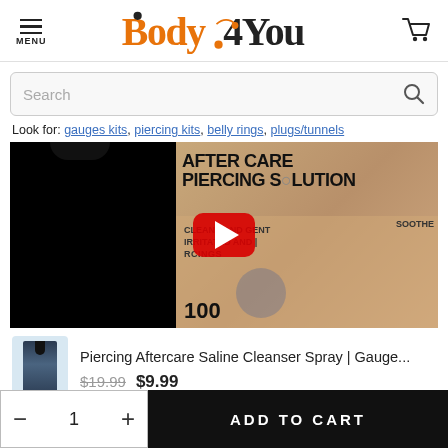MENU | Body4You | Cart
Search
Look for: gauges kits, piercing kits, belly rings, plugs/tunnels
[Figure (screenshot): YouTube video thumbnail showing a bottle of Aftercare Piercing Solution with text AFTER CARE PIERCING SOLUTION, CLEANS AND GENTLE, SOOTHES IRRITATED AND PIERCINGS, 100%, with a red YouTube play button overlay]
Piercing Aftercare Saline Cleanser Spray | Gauge...
$19.99  $9.99
- 1 + ADD TO CART